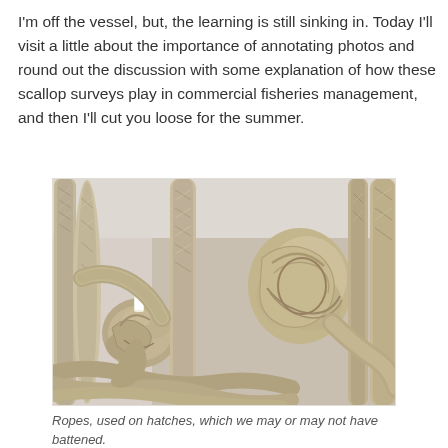I'm off the vessel, but, the learning is still sinking in. Today I'll visit a little about the importance of annotating photos and round out the discussion with some explanation of how these scallop surveys play in commercial fisheries management, and then I'll cut you loose for the summer.
[Figure (photo): Close-up photograph of multiple thick braided ropes bundled together with two large knots visible, in beige/tan color, on a light background.]
Ropes, used on hatches, which we may or may not have battened.